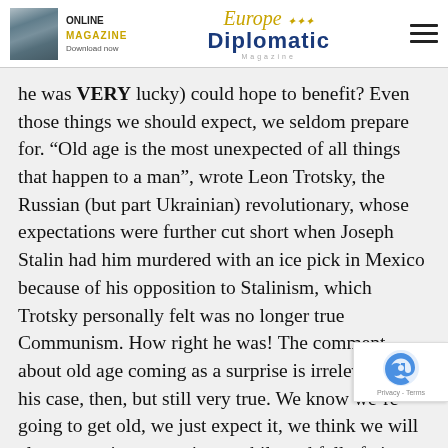ONLINE MAGAZINE Download now | Europe Diplomatic Magazine
he was VERY lucky) could hope to benefit? Even those things we should expect, we seldom prepare for. “Old age is the most unexpected of all things that happen to a man”, wrote Leon Trotsky, the Russian (but part Ukrainian) revolutionary, whose expectations were further cut short when Joseph Stalin had him murdered with an ice pick in Mexico because of his opposition to Stalinism, which Trotsky personally felt was no longer true Communism. How right he was! The comment about old age coming as a surprise is irrelevant in his case, then, but still very true. We know we’re going to get old, we just expect it, we think we will always continue to active, mobile and full of vim and vigour. If only…